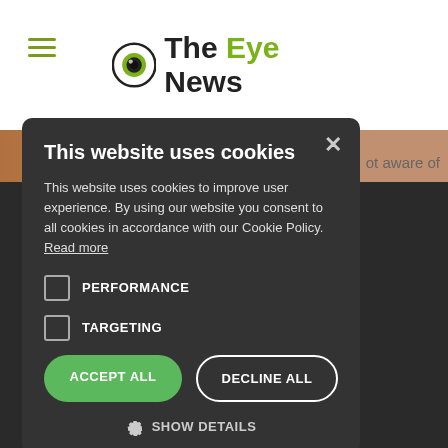[Figure (logo): The Eye News logo with eye icon and hamburger menu]
This website uses cookies
This website uses cookies to improve user experience. By using our website you consent to all cookies in accordance with our Cookie Policy. Read more
PERFORMANCE
TARGETING
ACCEPT ALL
DECLINE ALL
SHOW DETAILS